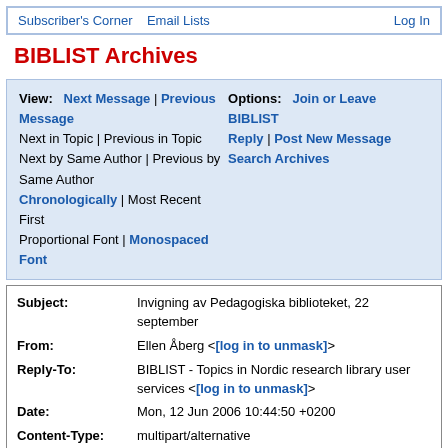Subscriber's Corner   Email Lists   Log In
BIBLIST Archives
View: Next Message | Previous Message | Options: Join or Leave BIBLIST
Next in Topic | Previous in Topic
Next by Same Author | Previous by Same Author
Chronologically | Most Recent First
Proportional Font | Monospaced Font
Reply | Post New Message
Search Archives
| Field | Value |
| --- | --- |
| Subject: | Invigning av Pedagogiska biblioteket, 22 september |
| From: | Ellen Åberg <[log in to unmask]> |
| Reply-To: | BIBLIST - Topics in Nordic research library user services <[log in to unmask]> |
| Date: | Mon, 12 Jun 2006 10:44:50 +0200 |
| Content-Type: | multipart/alternative |
| Parts/Attachments: | text/plain (1 lines) , text/html (71 lines) |